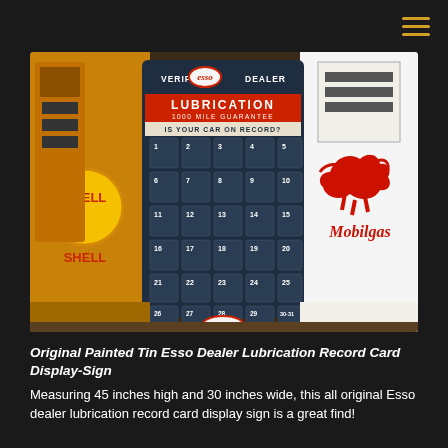[Figure (photo): Vintage Esso Verified Dealer Lubrication 1000 Mile Guarantee Record Card Display Sign, a painted tin board with numbered card slots 1-31, displayed among other vintage gas station memorabilia including Shell and Mobilgas signs and old gas pumps.]
Original Painted Tin Esso Dealer Lubrication Record Card Display-Sign
Measuring 45 inches high and 30 inches wide, this all original Esso dealer lubrication record card display sign is a great find!